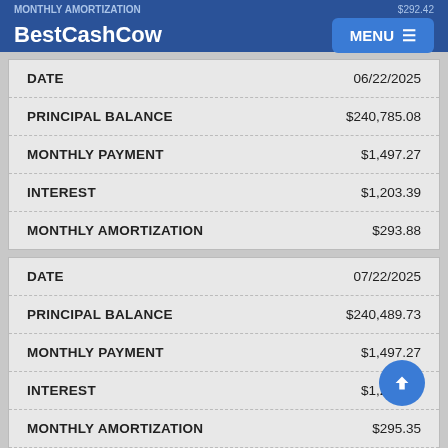MONTHLY AMORTIZATION | $292.42 | BestCashCow | MENU
|  |  |
| --- | --- |
| DATE | 06/22/2025 |
| PRINCIPAL BALANCE | $240,785.08 |
| MONTHLY PAYMENT | $1,497.27 |
| INTEREST | $1,203.39 |
| MONTHLY AMORTIZATION | $293.88 |
|  |  |
| --- | --- |
| DATE | 07/22/2025 |
| PRINCIPAL BALANCE | $240,489.73 |
| MONTHLY PAYMENT | $1,497.27 |
| INTEREST | $1,201.22 |
| MONTHLY AMORTIZATION | $295.35 |